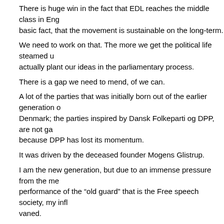There is huge win in the fact that EDL reaches the middle class in Eng basic fact, that the movement is sustainable on the long-term.
We need to work on that. The more we get the political life steamed up actually plant our ideas in the parliamentary process.
There is a gap we need to mend, of we can.
A lot of the parties that was initially born out of the earlier generation o Denmark; the parties inspired by Dansk Folkeparti og DPP, are not ga because DPP has lost its momentum.
It was driven by the deceased founder Mogens Glistrup.
I am the new generation, but due to an immense pressure from the me performance of the “old guard” that is the Free speech society, my infl vaned.
Not that I believe that I am the only person to push the agenda, I just n generation. The new generation has been marginalized and pushed a
So, we need to contact Geert Wilders, Sif from Norway, Ted from Swe germans and french.
But to unite our perspective, we need to reach the political level of No building networks.
They may not like us at the first place, but it is a worth a try.